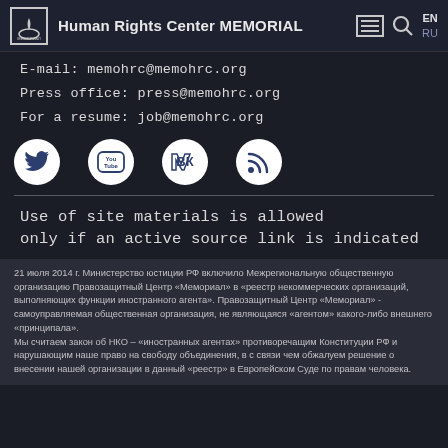Human Rights Center MEMORIAL
E-mail: memohrc@memohrc.org
Press office: press@memohrc.org
For a resume: job@memohrc.org
[Figure (infographic): Four social media icons in white circles: Twitter, YouTube, VK, RSS]
Use of site materials is allowed only if an active source link is indicated
21 июля 2014 г. Министерство юстиции РФ включило Межрегиональную общественную организацию Правозащитный Центр «Мемориал» в «реестр некоммерческих организаций, выполняющих функции иностранного агента». Правозащитный Центр «Мемориал» - самоуправляемая общественная организация, не являющаяся «агентом» какого-либо внешнего «принципала».
Мы считаем закон об НКО – «иностранных агентах» противоречащим Конституции РФ и нарушающим наше право на свободу объединения, в с связи чем обжалуем решение о внесении нашей организации в данный «реестр» в Европейском Суде по правам человека.